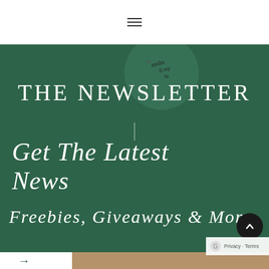[Figure (screenshot): Website newsletter signup page screenshot showing a navigation bar with hamburger menu icon at top, a dark green background section with 'THE NEWSLETTER' text, decorative script text reading 'Get The Latest News', subtitle 'Freebies, Giveaways & More', a form with First Name and Email Address fields and a GO button, with a partial tan/gold bottom section and privacy badge]
☰
THE NEWSLETTER
Get The Latest News
Freebies, Giveaways & More
First Name
Email Address
GO
Privacy · Terms